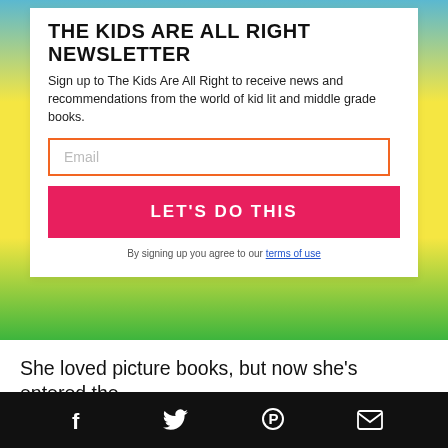THE KIDS ARE ALL RIGHT NEWSLETTER
Sign up to The Kids Are All Right to receive news and recommendations from the world of kid lit and middle grade books.
Email
LET'S DO THIS
By signing up you agree to our terms of use
She loved picture books, but now she's entered the
[Figure (infographic): Social media share bar with Facebook, Twitter, Pinterest, and email icons on black background]